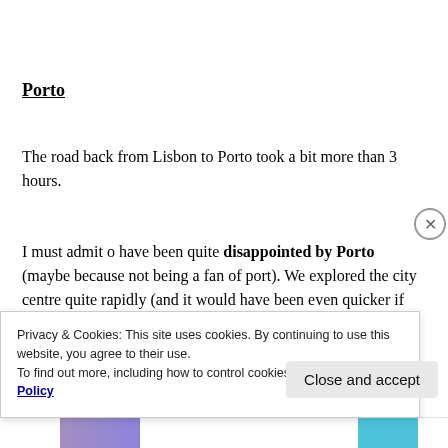Porto
The road back from Lisbon to Porto took a bit more than 3 hours.
I must admit o have been quite disappointed by Porto (maybe because not being a fan of port). We explored the city centre quite rapidly (and it would have been even quicker if we did not have to go up and down!)
Privacy & Cookies: This site uses cookies. By continuing to use this website, you agree to their use.
To find out more, including how to control cookies, see here: Cookie Policy
Close and accept